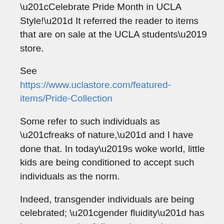“Celebrate Pride Month in UCLA Style!” It referred the reader to items that are on sale at the UCLA students’ store.
See https://www.uclastore.com/featured-items/Pride-Collection
Some refer to such individuals as “freaks of nature,” and I have done that. In today’s woke world, little kids are being conditioned to accept such individuals as the norm.
Indeed, transgender individuals are being celebrated; “gender fluidity” has become a topic of discussion; and parents are being told that they have no “say” in their kids’ educations.